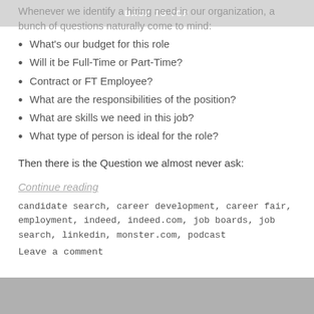BACK TO TOP
Whenever we identify a hiring need in our organization, a bunch of questions naturally come to mind:
What's our budget for this role
Will it be Full-Time or Part-Time?
Contract or FT Employee?
What are the responsibilities of the position?
What are skills we need in this job?
What type of person is ideal for the role?
Then there is the Question we almost never ask:
Continue reading
candidate search, career development, career fair, employment, indeed, indeed.com, job boards, job search, linkedin, monster.com, podcast
Leave a comment